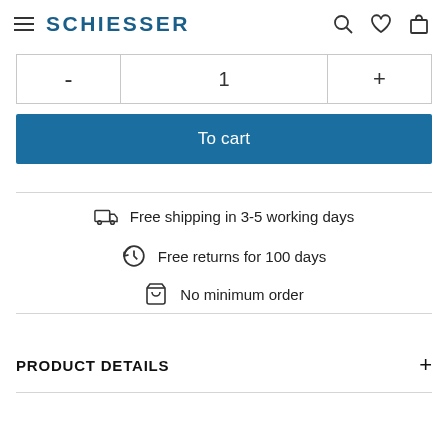SCHIESSER
- 1 +
To cart
Free shipping in 3-5 working days
Free returns for 100 days
No minimum order
PRODUCT DETAILS